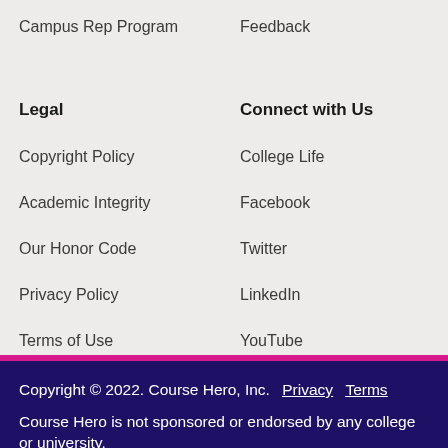Campus Rep Program
Feedback
Legal
Connect with Us
Copyright Policy
College Life
Academic Integrity
Facebook
Our Honor Code
Twitter
Privacy Policy
LinkedIn
Terms of Use
YouTube
Attributions
Instagram
Copyright © 2022. Course Hero, Inc.  Privacy  Terms
Course Hero is not sponsored or endorsed by any college or university.